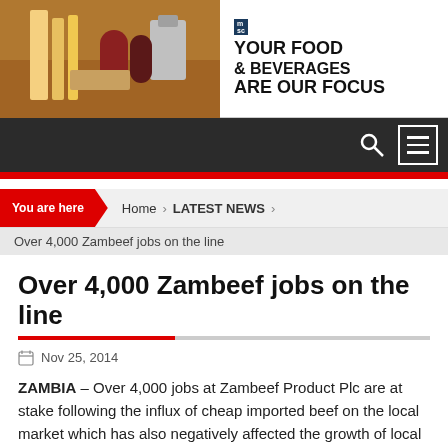[Figure (illustration): Advertisement banner: food and beverages image on left with pasta, spices, bottles; text on right reads YOUR FOOD & BEVERAGES ARE OUR FOCUS with sc logo]
Navigation bar with search icon and menu icon
You are here > Home > LATEST NEWS
Over 4,000 Zambeef jobs on the line
Over 4,000 Zambeef jobs on the line
Nov 25, 2014
ZAMBIA – Over 4,000 jobs at Zambeef Product Plc are at stake following the influx of cheap imported beef on the local market which has also negatively affected the growth of local processors, producers and farmers in the country, a senior